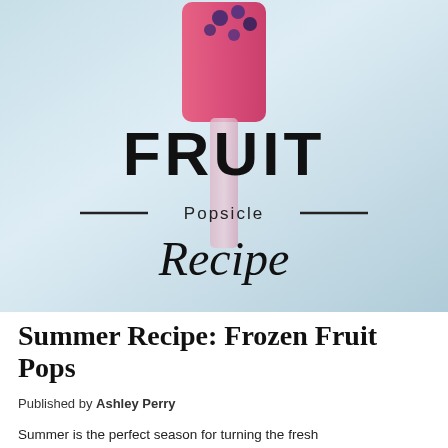[Figure (photo): A pink/red fruit popsicle with blueberries against a light blue gradient background. Text overlay reads 'FRUIT' in large bold letters, '— Popsicle —' in the middle, and 'Recipe' in a cursive/script font below.]
Summer Recipe: Frozen Fruit Pops
Published by Ashley Perry
Summer is the perfect season for turning the fresh